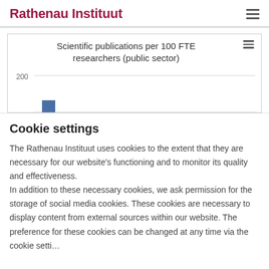Rathenau Instituut
[Figure (bar-chart): Scientific publications per 100 FTE researchers (public sector)]
Cookie settings
The Rathenau Instituut uses cookies to the extent that they are necessary for our website's functioning and to monitor its quality and effectiveness.
In addition to these necessary cookies, we ask permission for the storage of social media cookies. These cookies are necessary to display content from external sources within our website. The preference for these cookies can be changed at any time via the cookie settings.